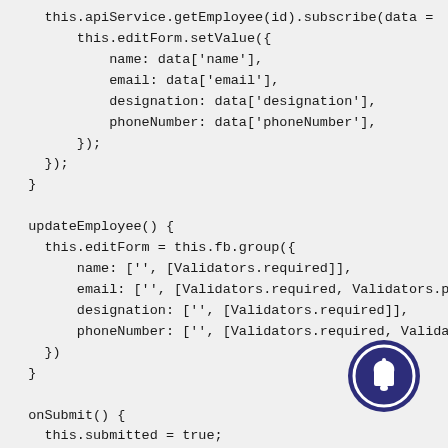Code snippet showing getEmployee subscribe, updateEmployee, and onSubmit methods in TypeScript/Angular
[Figure (illustration): Dark blue circular bell/notification icon button in the bottom-right corner]